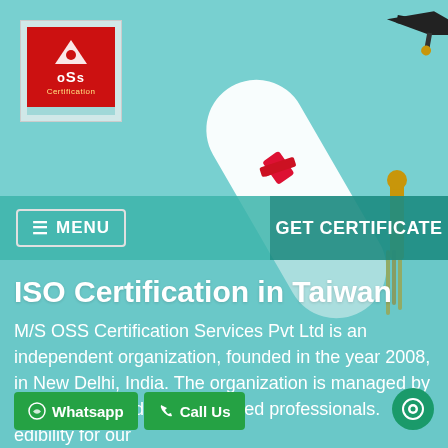[Figure (photo): Background photo of a rolled diploma/certificate scroll tied with red ribbon and gold tassel, on a light blue background. A graduation cap is partially visible in the top right corner.]
[Figure (logo): oSS Certification logo — red square background with white triangle/pyramid icon and text 'oSs' in white and 'Certification' in yellow, on a light blue/teal backing strip.]
≡ MENU  |  GET CERTIFICATE
ISO Certification in Taiwan
M/S OSS Certification Services Pvt Ltd is an independent organization, founded in the year 2008, in New Delhi, India. The organization is managed by highly dedicated & experienced professionals. edibility for our services of Manag... Syst...
⊙ Whatsapp
✆ Call Us